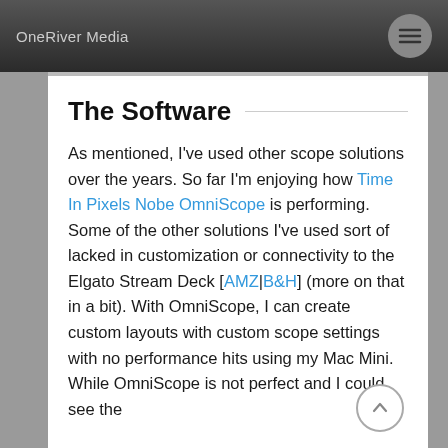OneRiver Media
The Software
As mentioned, I've used other scope solutions over the years. So far I'm enjoying how Time In Pixels Nobe OmniScope is performing. Some of the other solutions I've used sort of lacked in customization or connectivity to the Elgato Stream Deck [AMZ|B&H] (more on that in a bit). With OmniScope, I can create custom layouts with custom scope settings with no performance hits using my Mac Mini. While OmniScope is not perfect and I could see the